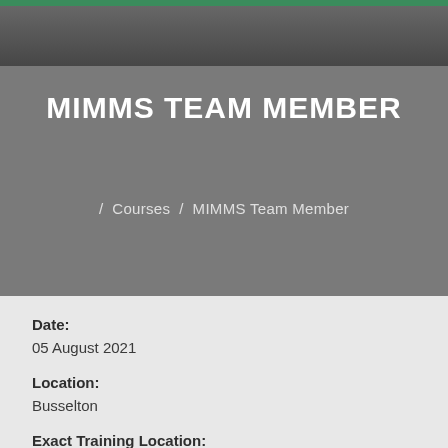[Figure (photo): Dark grayscale hero photo of people at top of page]
MIMMS TEAM MEMBER
/ Courses / MIMMS Team Member
Date:
05 August 2021
Location:
Busselton
Exact Training Location:
Busselton